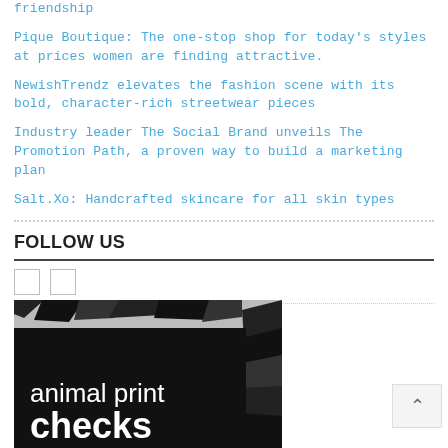friendship
Pique Boutique: The one-stop shop for today's styles at prices women are finding attractive.
NewishTrendz elevates the fashion scene with its bold, character-rich streetwear pieces
Industry leader The Social Brand unveils The Promotion Path, a proven way to build a marketing plan
Salt.Xo: Handcrafted skincare for all skin types
FOLLOW US
[Figure (other): Social media icon placeholders - two small square boxes]
[Figure (photo): Black and white image showing text 'animal print checks' on a dark background with animal print pattern visible at top and right edge]